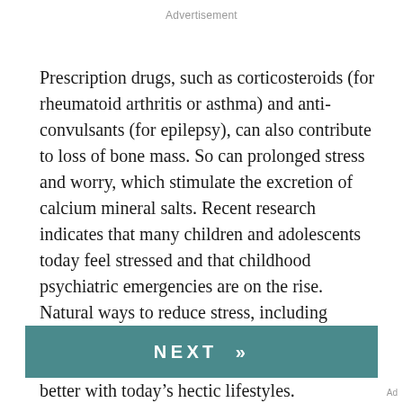Advertisement
Prescription drugs, such as corticosteroids (for rheumatoid arthritis or asthma) and anti-convulsants (for epilepsy), can also contribute to loss of bone mass. So can prolonged stress and worry, which stimulate the excretion of calcium mineral salts. Recent research indicates that many children and adolescents today feel stressed and that childhood psychiatric emergencies are on the rise. Natural ways to reduce stress, including physical exercise, massage and relaxation methods, can help kids (and adults) cope better with today's hectic lifestyles.
NEXT »
Ad